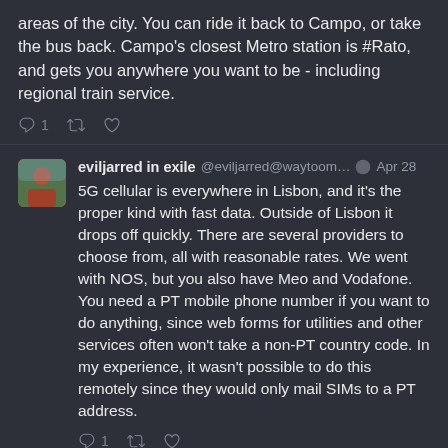areas of the city. You can ride it back to Campo, or take the bus back. Campo's closest Metro station is #Rato, and gets you anywhere you want to be - including regional train service.
eviljarred in exile @eviljarred@waytoom… Apr 28
5G cellular is everywhere in Lisbon, and it's the proper kind with fast data. Outside of Lisbon it drops off quickly. There are several providers to choose from, all with reasonable rates. We went with NOS, but you also have Meo and Vodafone. You need a PT mobile phone number if you want to do anything, since web forms for utilities and other services often won't take a non-PT country code. In my experience, it wasn't possible to do this remotely since they would only mail SIMs to a PT address.